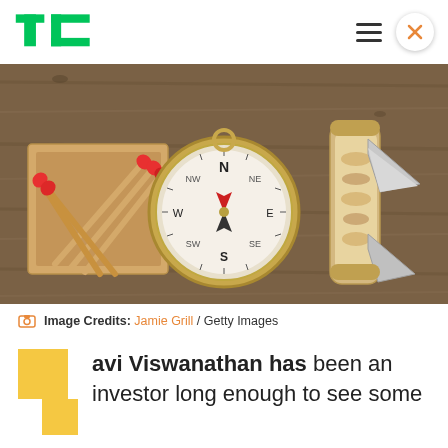TechCrunch
[Figure (photo): Overhead view of survival/outdoors items on a wooden surface: a box of matches with red-tipped matches, a brass compass, and a folding pocket knife with bone handle.]
Image Credits: Jamie Grill / Getty Images
avi Viswanathan has been an investor long enough to see some